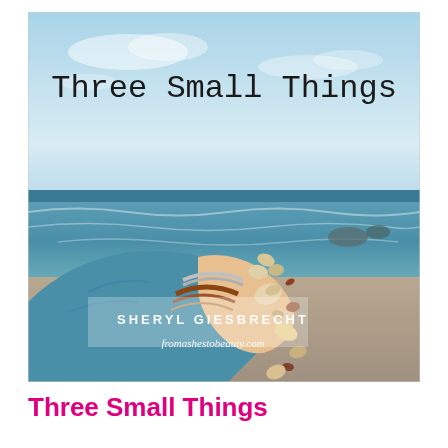[Figure (illustration): Book cover for 'Three Small Things' by Sheryl Giesbrecht. A hand wearing stacked bracelets holds seashells over a sandy beach with ocean waves and a blue sky in the background. The title 'Three Small Things' appears in typewriter font at the top, and the author name 'SHERYL GIESBRECHT' and website 'fromashestobeauty.com' appear in the lower portion.]
Three Small Things